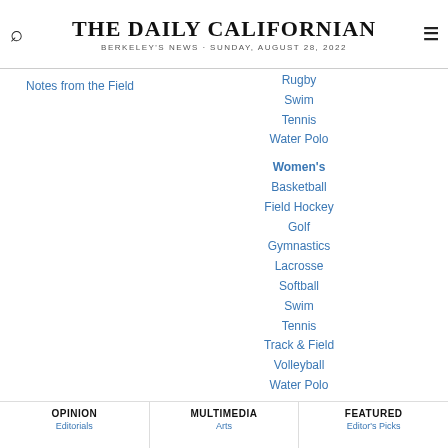THE DAILY CALIFORNIAN
BERKELEY'S NEWS · SUNDAY, AUGUST 28, 2022
Notes from the Field
Rugby
Swim
Tennis
Water Polo
Women's
Basketball
Field Hockey
Golf
Gymnastics
Lacrosse
Softball
Swim
Tennis
Track & Field
Volleyball
Water Polo
OPINION | MULTIMEDIA | FEATURED
Editorials | Arts | Editor's Picks